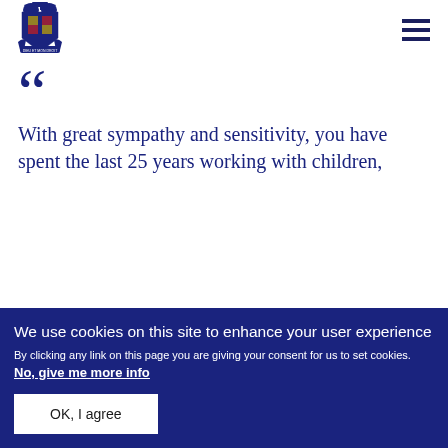[Figure (logo): UK Government royal coat of arms crest logo in dark blue]
“With great sympathy and sensitivity, you have spent the last 25 years working with children,
We use cookies on this site to enhance your user experience
By clicking any link on this page you are giving your consent for us to set cookies. No, give me more info
OK, I agree